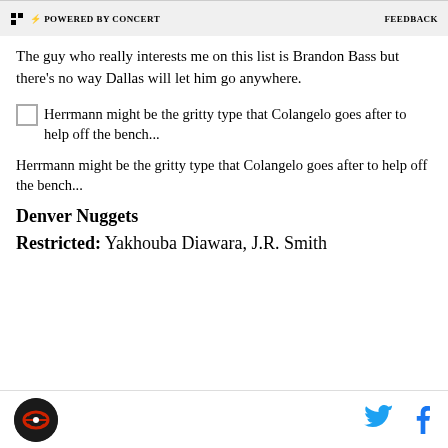POWERED BY CONCERT   FEEDBACK
The guy who really interests me on this list is Brandon Bass but there's no way Dallas will let him go anywhere.
[Figure (photo): Small broken image icon for photo of player]
Herrmann might be the gritty type that Colangelo goes after to help off the bench...
Herrmann might be the gritty type that Colangelo goes after to help off the bench...
Denver Nuggets
Restricted: Yakhouba Diawara, J.R. Smith
Logo | Twitter | Facebook